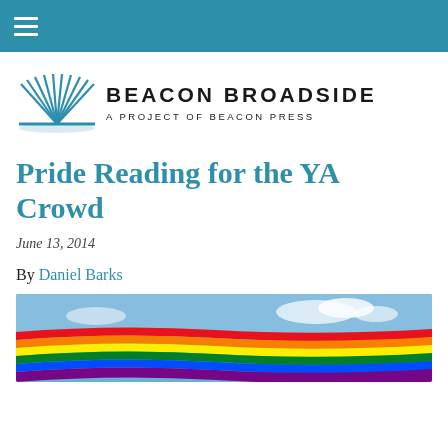≡ (navigation menu)
[Figure (logo): Beacon Broadside logo: stylized open book with radiating pages in teal/blue, beside the text 'BEACON BROADSIDE / A PROJECT OF BEACON PRESS']
Pride Reading for the YA Crowd
June 13, 2014
By Daniel Barks
[Figure (photo): Colorful rainbow pride flag waving against a blue sky with clouds]